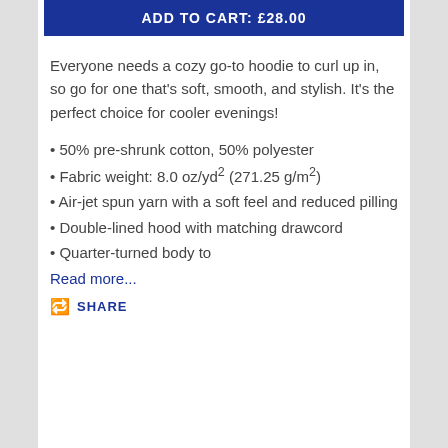ADD TO CART: £28.00
Everyone needs a cozy go-to hoodie to curl up in, so go for one that's soft, smooth, and stylish. It's the perfect choice for cooler evenings!
50% pre-shrunk cotton, 50% polyester
Fabric weight: 8.0 oz/yd² (271.25 g/m²)
Air-jet spun yarn with a soft feel and reduced pilling
Double-lined hood with matching drawcord
Quarter-turned body to
Read more...
SHARE